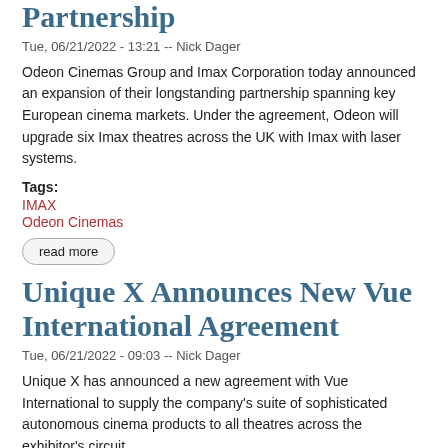Partnership
Tue, 06/21/2022 - 13:21 -- Nick Dager
Odeon Cinemas Group and Imax Corporation today announced an expansion of their longstanding partnership spanning key European cinema markets. Under the agreement, Odeon will upgrade six Imax theatres across the UK with Imax with laser systems.
Tags:
IMAX
Odeon Cinemas
read more
Unique X Announces New Vue International Agreement
Tue, 06/21/2022 - 09:03 -- Nick Dager
Unique X has announced a new agreement with Vue International to supply the company's suite of sophisticated autonomous cinema products to all theatres across the exhibitor's circuit.
read more